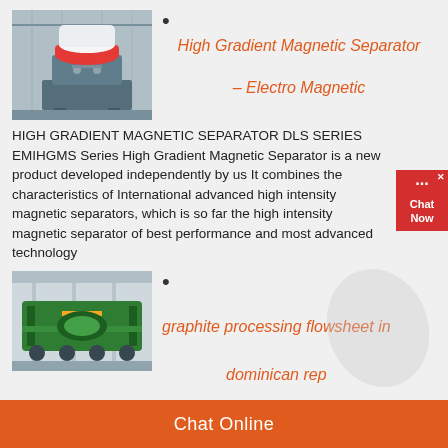[Figure (photo): Industrial high gradient magnetic separator machine in a factory setting]
•
High Gradient Magnetic Separator – Electro Magnetic
HIGH GRADIENT MAGNETIC SEPARATOR DLS SERIES EMIHGMS Series High Gradient Magnetic Separator is a new product developed independently by us It combines the characteristics of International advanced high intensity magnetic separators, which is so far the high intensity magnetic separator of best performance and most advanced technology
[Figure (photo): Green graphite processing equipment/flowsheet machine in a facility]
•
graphite processing flowsheet in dominican rep
Chat Online